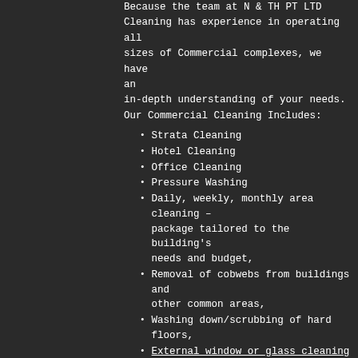Because the team at N&TH PT LTD Cleaning has experience in operating all sizes of Commercial complexes, we have an in-depth understanding of your needs. Our Commercial Cleaning Includes:
Strata Cleaning
Hotel Cleaning
Office Cleaning
Pressure Washing
Daily, weekly, monthly area cleaning – package tailored to the building's needs and budget,
Removal of cobwebs from buildings and other common areas,
Washing down/scrubbing of hard floors,
External window or glass cleaning
Car park and basement cleaning
Cleaning lifts